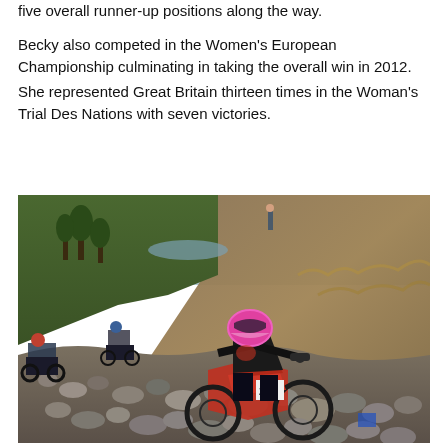five overall runner-up positions along the way.
Becky also competed in the Women's European Championship culminating in taking the overall win in 2012.
She represented Great Britain thirteen times in the Woman's Trial Des Nations with seven victories.
[Figure (photo): A female motorcycle trials rider wearing a black outfit and pink helmet with number 210 on her bike, navigating a rocky uphill terrain in a hilly landscape with trees and a lake visible in the background. Other riders are visible behind her.]